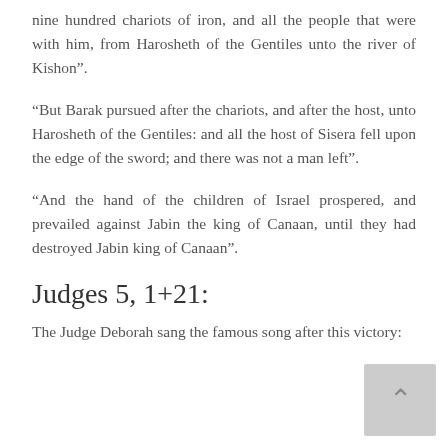nine hundred chariots of iron, and all the people that were with him, from Harosheth of the Gentiles unto the river of Kishon”.
“But Barak pursued after the chariots, and after the host, unto Harosheth of the Gentiles: and all the host of Sisera fell upon the edge of the sword; and there was not a man left”.
“And the hand of the children of Israel prospered, and prevailed against Jabin the king of Canaan, until they had destroyed Jabin king of Canaan”.
Judges 5, 1+21:
The Judge Deborah sang the famous song after this victory: